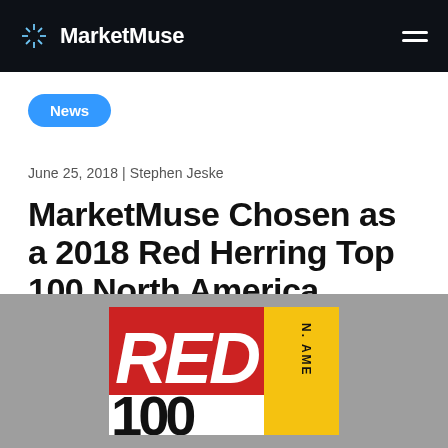MarketMuse
News
June 25, 2018 | Stephen Jeske
MarketMuse Chosen as a 2018 Red Herring Top 100 North America Winner
[Figure (logo): Red Herring Top 100 North America logo/award badge with red, black, white, and yellow color blocks]